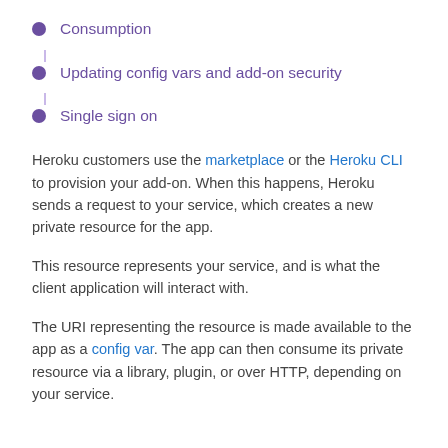Consumption
Updating config vars and add-on security
Single sign on
Heroku customers use the marketplace or the Heroku CLI to provision your add-on. When this happens, Heroku sends a request to your service, which creates a new private resource for the app.
This resource represents your service, and is what the client application will interact with.
The URI representing the resource is made available to the app as a config var. The app can then consume its private resource via a library, plugin, or over HTTP, depending on your service.